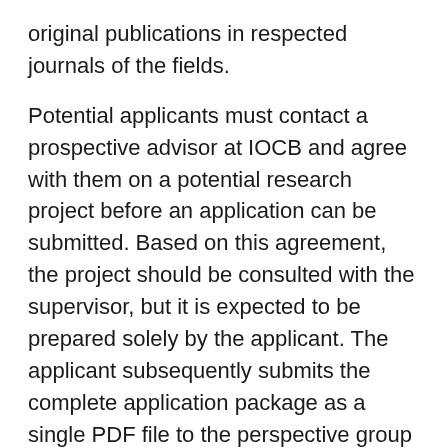original publications in respected journals of the fields.
Potential applicants must contact a prospective advisor at IOCB and agree with them on a potential research project before an application can be submitted. Based on this agreement, the project should be consulted with the supervisor, but it is expected to be prepared solely by the applicant. The applicant subsequently submits the complete application package as a single PDF file to the perspective group leader, except for two letters of recommendation, which must be sent separately and confidentially directly to the address fellowship@uochb.cas.cz by each of the providers of the support letter. The group